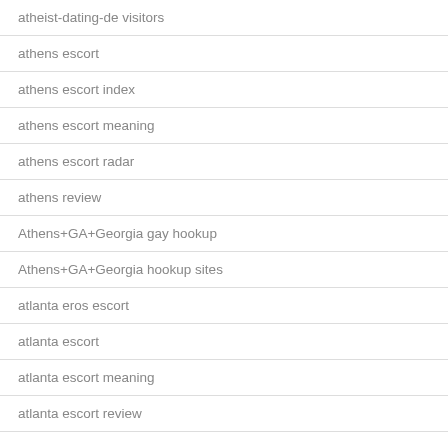atheist-dating-de visitors
athens escort
athens escort index
athens escort meaning
athens escort radar
athens review
Athens+GA+Georgia gay hookup
Athens+GA+Georgia hookup sites
atlanta eros escort
atlanta escort
atlanta escort meaning
atlanta escort review